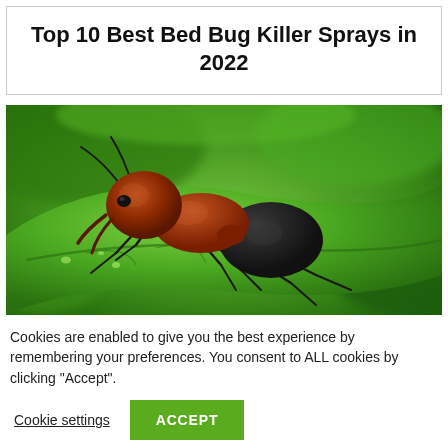Top 10 Best Bed Bug Killer Sprays in 2022
[Figure (photo): Close-up macro photograph of a red and black ant on a green leaf with blurred green background]
Cookies are enabled to give you the best experience by remembering your preferences. You consent to ALL cookies by clicking "Accept".
Cookie settings
ACCEPT